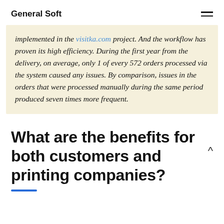General Soft
implemented in the visitka.com project. And the workflow has proven its high efficiency. During the first year from the delivery, on average, only 1 of every 572 orders processed via the system caused any issues. By comparison, issues in the orders that were processed manually during the same period produced seven times more frequent.
What are the benefits for both customers and printing companies?